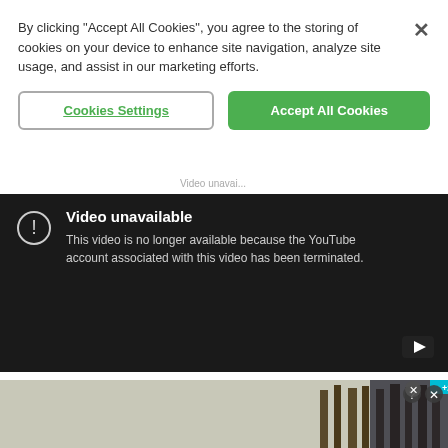By clicking "Accept All Cookies", you agree to the storing of cookies on your device to enhance site navigation, analyze site usage, and assist in our marketing efforts.
Cookies Settings
Accept All Cookies
[Figure (screenshot): YouTube embedded video player showing error: 'Video unavailable - This video is no longer available because the YouTube account associated with this video has been terminated.']
[Figure (screenshot): Advertisement banner showing a game screenshot with 'Hold and Move' text and trees in background, with close/help buttons in top right corner.]